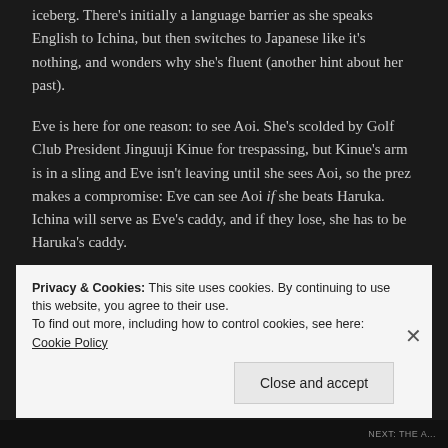iceberg. There's initially a language barrier as she speaks English to Ichina, but then switches to Japanese like it's nothing, and wonders why she's fluent (another hint about her past).
Eve is here for one reason: to see Aoi. She's scolded by Golf Club President Jinguuji Kinue for trespassing, but Kinue's arm is in a sling and Eve isn't leaving until she sees Aoi, so the prez makes a compromise: Eve can see Aoi if she beats Haruka. Ichina will serve as Eve's caddy, and if they lose, she has to be Haruka's caddy.
Privacy & Cookies: This site uses cookies. By continuing to use this website, you agree to their use.
To find out more, including how to control cookies, see here: Cookie Policy